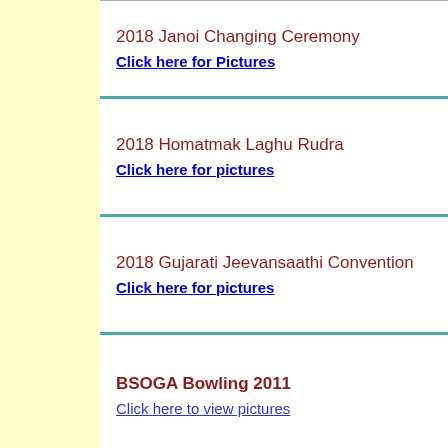2018 Janoi Changing Ceremony
Click here for Pictures
2018 Homatmak Laghu Rudra
Click here for pictures
2018 Gujarati Jeevansaathi Convention
Click here for pictures
BSOGA Bowling 2011
Click here to view pictures
BSOGA Camping 2011